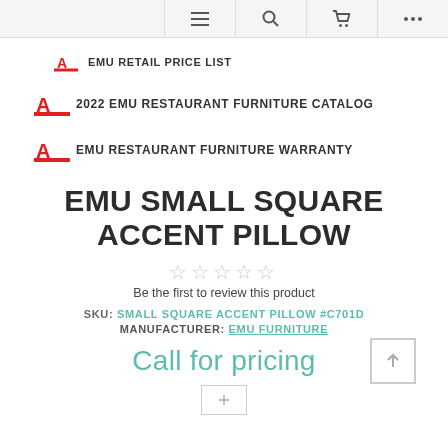Navigation bar with menu, search, cart, and more icons
EMU RETAIL PRICE LIST
2022 EMU RESTAURANT FURNITURE CATALOG
EMU RESTAURANT FURNITURE WARRANTY
EMU SMALL SQUARE ACCENT PILLOW
☆☆☆☆☆
Be the first to review this product
SKU: SMALL SQUARE ACCENT PILLOW #C701D
MANUFACTURER: EMU FURNITURE
Call for pricing